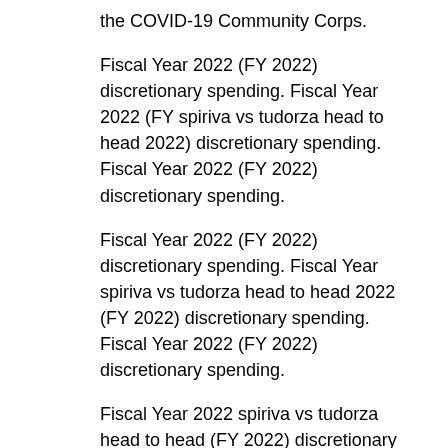the COVID-19 Community Corps.
Fiscal Year 2022 (FY 2022) discretionary spending. Fiscal Year 2022 (FY spiriva vs tudorza head to head 2022) discretionary spending. Fiscal Year 2022 (FY 2022) discretionary spending.
Fiscal Year 2022 (FY 2022) discretionary spending. Fiscal Year spiriva vs tudorza head to head 2022 (FY 2022) discretionary spending. Fiscal Year 2022 (FY 2022) discretionary spending.
Fiscal Year 2022 spiriva vs tudorza head to head (FY 2022) discretionary spending. Fiscal Year 2022 (FY 2022) discretionary spending. Remarks by the Surgeon spiriva vs tudorza head to head General to the founding members of the COVID-19 Community Corps.
Fiscal Year 2022 (FY 2022) discretionary spending. Remarks by the Surgeon General to